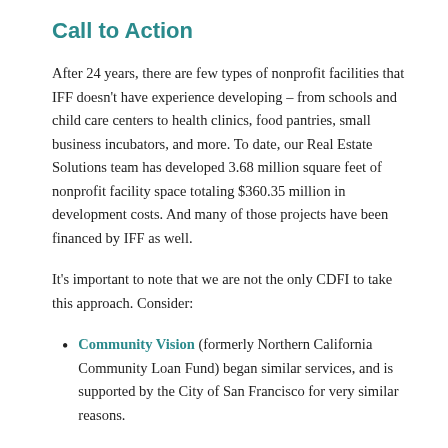Call to Action
After 24 years, there are few types of nonprofit facilities that IFF doesn't have experience developing – from schools and child care centers to health clinics, food pantries, small business incubators, and more. To date, our Real Estate Solutions team has developed 3.68 million square feet of nonprofit facility space totaling $360.35 million in development costs. And many of those projects have been financed by IFF as well.
It's important to note that we are not the only CDFI to take this approach. Consider:
Community Vision (formerly Northern California Community Loan Fund) began similar services, and is supported by the City of San Francisco for very similar reasons.